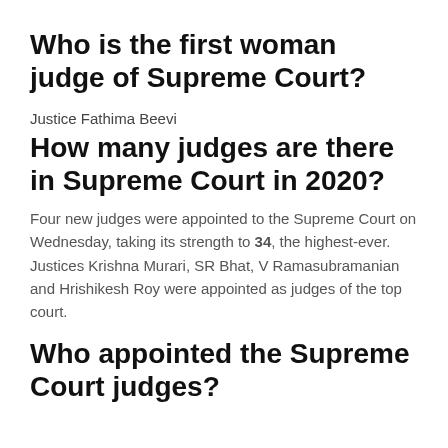Who is the first woman judge of Supreme Court?
Justice Fathima Beevi
How many judges are there in Supreme Court in 2020?
Four new judges were appointed to the Supreme Court on Wednesday, taking its strength to 34, the highest-ever. Justices Krishna Murari, SR Bhat, V Ramasubramanian and Hrishikesh Roy were appointed as judges of the top court.
Who appointed the Supreme Court judges?